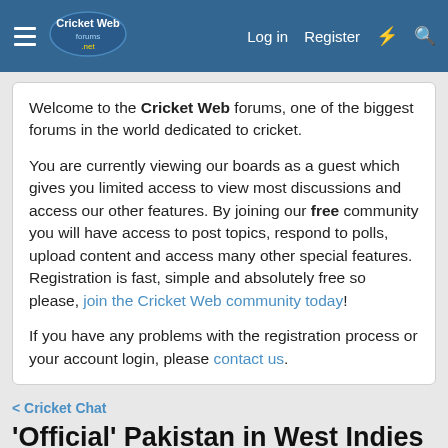Cricket Web forums — Log in | Register
Welcome to the Cricket Web forums, one of the biggest forums in the world dedicated to cricket.

You are currently viewing our boards as a guest which gives you limited access to view most discussions and access our other features. By joining our free community you will have access to post topics, respond to polls, upload content and access many other special features. Registration is fast, simple and absolutely free so please, join the Cricket Web community today!

If you have any problems with the registration process or your account login, please contact us.
< Cricket Chat
'Official' Pakistan in West Indies
Edged&Taken · Apr 6, 2011